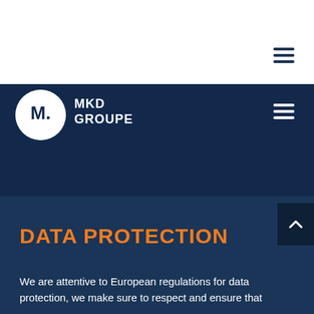[Figure (logo): MKD Groupe logo — white circle with stylized M dot letter and MKD GROUPE text in navy header bar]
DATA PROTECTION
We are attentive to European regulations for data protection, we make sure to respect and ensure that